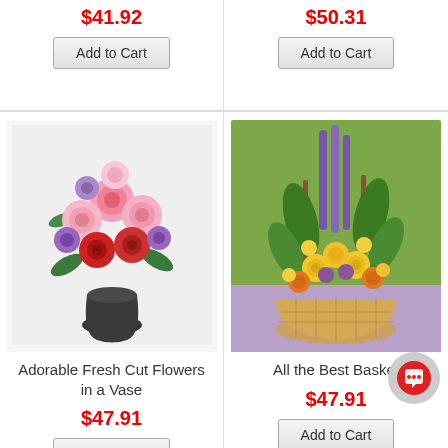$41.92
Add to Cart
$50.31
Add to Cart
[Figure (photo): Pink and red mixed flower bouquet with roses and gerberas in a dark vase]
Adorable Fresh Cut Flowers in a Vase
$47.91
Add to Cart
[Figure (photo): Tall flower basket arrangement with yellow roses, purple and yellow flowers on a green background]
All the Best Basket
$47.91
Add to Cart
1  2  3  4  5  6  7  8  9  10  11  >